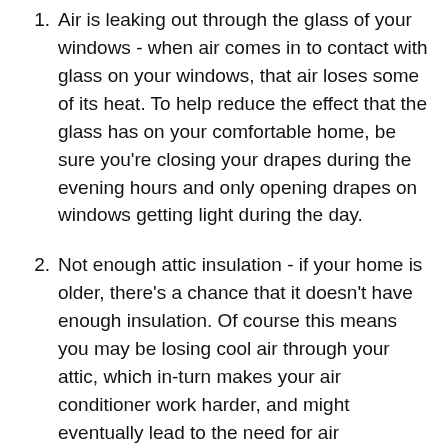Air is leaking out through the glass of your windows - when air comes in to contact with glass on your windows, that air loses some of its heat. To help reduce the effect that the glass has on your comfortable home, be sure you're closing your drapes during the evening hours and only opening drapes on windows getting light during the day.
Not enough attic insulation - if your home is older, there's a chance that it doesn't have enough insulation. Of course this means you may be losing cool air through your attic, which in-turn makes your air conditioner work harder, and might eventually lead to the need for air conditioner repair. You can easily check if you have plenty of insulation by looking in your attic to see if the insulation is below or even with the